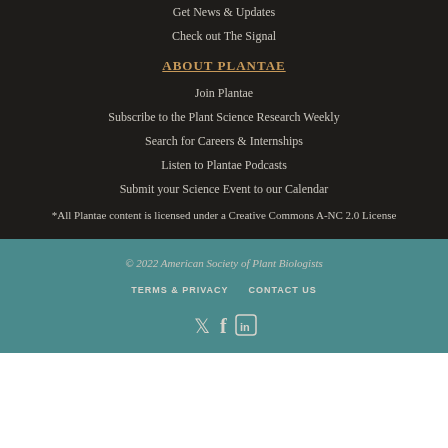Get News & Updates
Check out The Signal
ABOUT PLANTAE
Join Plantae
Subscribe to the Plant Science Research Weekly
Search for Careers & Internships
Listen to Plantae Podcasts
Submit your Science Event to our Calendar
*All Plantae content is licensed under a Creative Commons A-NC 2.0 License
© 2022 American Society of Plant Biologists
TERMS & PRIVACY   CONTACT US
[Figure (other): Social media icons: Twitter, Facebook, LinkedIn]